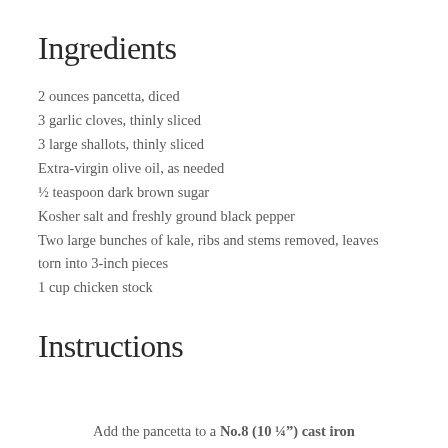Ingredients
2 ounces pancetta, diced
3 garlic cloves, thinly sliced
3 large shallots, thinly sliced
Extra-virgin olive oil, as needed
½ teaspoon dark brown sugar
Kosher salt and freshly ground black pepper
Two large bunches of kale, ribs and stems removed, leaves torn into 3-inch pieces
1 cup chicken stock
Instructions
Add the pancetta to a No.8 (10 ¼") cast iron